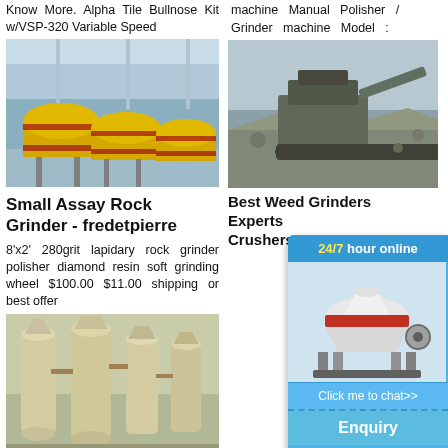Know More. Alpha Tile Bullnose Kit w/VSP-320 Variable Speed
[Figure (photo): Yellow industrial ball mills in a warehouse/factory setting]
Small Assay Rock Grinder - fredetpierre
8'x2' 280grit lapidary rock grinder polisher diamond resin soft grinding wheel $100.00 $11.00 shipping or best offer
[Figure (photo): Industrial grinding/milling equipment - vertical mills in a factory]
concrete wet grinder
Best Wet Polisher Grinders of 2021 (Top 10)...
machine Manual Polisher / Grinder machine Model :
[Figure (photo): Large rock crusher / mining machine outdoors]
Best Weed Grinders Experts Crushers
1 Marijuana Reviewing Crushers. Pick Top 15 Rock
[Figure (photo): Industrial building exterior - Komatsu crusher facility]
Komatsu Crushers
Komatsu
[Figure (screenshot): 24/7 hour online chat widget with cone crusher image, Click me to chat>> button, Enquiry section, and limingjlmofen username]